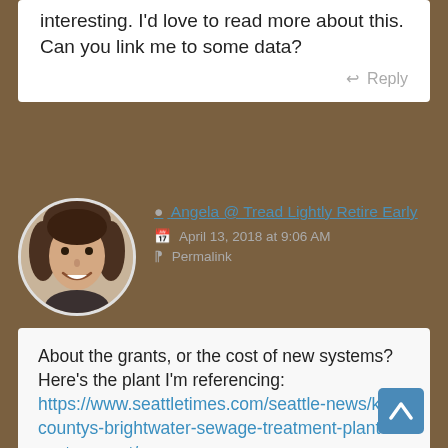interesting. I'd love to read more about this. Can you link me to some data?
Reply
Angela @ Tread Lightly Retire Early
April 13, 2018 at 9:06 AM
Permalink
About the grants, or the cost of new systems? Here's the plant I'm referencing: https://www.seattletimes.com/seattle-news/king-countys-brightwater-sewage-treatment-plant-costs-mount/
Really basic info on grants: https://pse.com/savingsandenergycenter/ForBusinesses/Pages/Commercial-Custom-